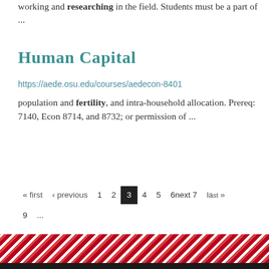working and researching in the field. Students must be a part of ...
Human Capital
https://aede.osu.edu/courses/aedecon-8401
population and fertility, and intra-household allocation. Prereq: 7140, Econ 8714, and 8732; or permission of ...
« first ‹ previous 1 2 3 4 5 6next 7 last » 9 ...